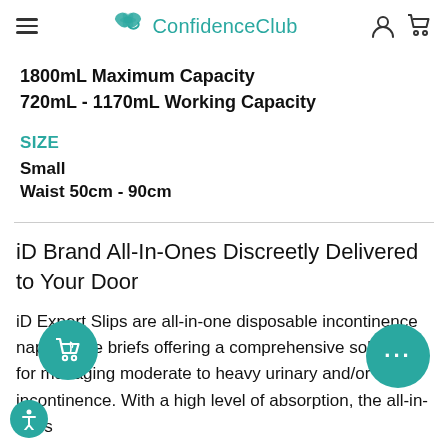ConfidenceClub
1800mL Maximum Capacity
720mL - 1170mL Working Capacity
SIZE
Small
Waist 50cm - 90cm
iD Brand All-In-Ones Discreetly Delivered to Your Door
iD Expert Slips are all-in-one disposable incontinence nappy-style briefs offering a comprehensive solution for managing moderate to heavy urinary and/or faecal incontinence. With a high level of absorption, the all-in-ones